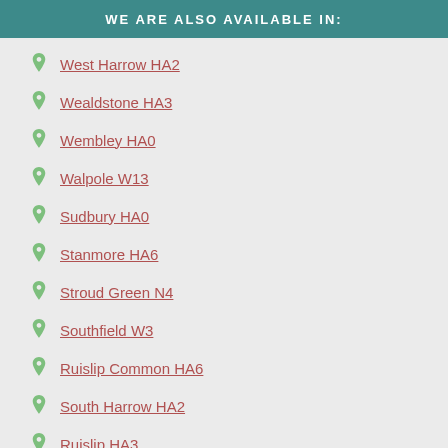WE ARE ALSO AVAILABLE IN:
West Harrow HA2
Wealdstone HA3
Wembley HA0
Walpole W13
Sudbury HA0
Stanmore HA6
Stroud Green N4
Southfield W3
Ruislip Common HA6
South Harrow HA2
Ruislip HA3